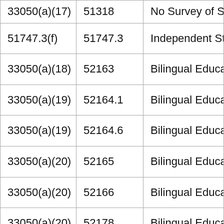| 33050(a)(17) | 51318 | No Survey of Stu… |
| 51747.3(f) | 51747.3 | Independent Stud… |
| 33050(a)(18) | 52163 | Bilingual Educati… |
| 33050(a)(19) | 52164.1 | Bilingual Educati… |
| 33050(a)(19) | 52164.6 | Bilingual Educati… |
| 33050(a)(20) | 52165 | Bilingual Educati… |
| 33050(a)(20) | 52166 | Bilingual Educati… |
| 33050(a)(20) | 52178 | Bilingual Educati… |
| 33050(a)(21) | 56364.1 | Instruction of Pu… |